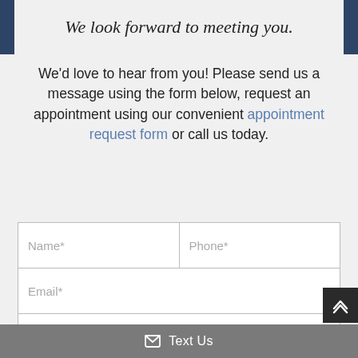We look forward to meeting you.
We'd love to hear from you! Please send us a message using the form below, request an appointment using our convenient appointment request form or call us today.
[Figure (screenshot): Contact form with fields: Name*, Phone*, Email*, Message]
✉ Text Us